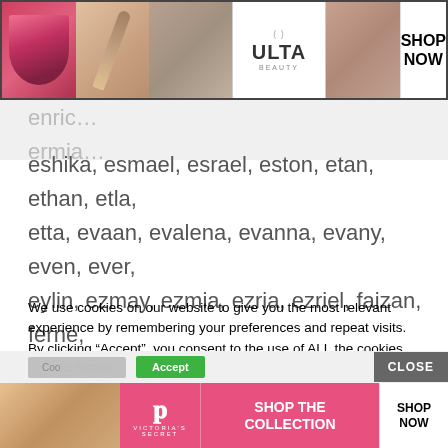[Figure (screenshot): Ulta Beauty advertisement banner with makeup images and SHOP NOW button]
enric... ermia... eshika, esmael, esrael, eston, etan, ethan, etla, etta, evaan, evalena, evanna, evany, even, ever, eylin, ezmay, ezmia, ezria, ezriel, faizan, ferne, finlee, gaige, graci, grae, haakon, hadasa, hadija, hadrian, haidar, haiden, hailey, hailynn, haines, haitham, haizel, hajira, hale, hallie, hanalei, hanes, hannia, harloe, harte, haydan, haydin, haylin, hays, hayze, hayzel, helena, heron, honora,
We use cookies on our website to give you the most relevant experience by remembering your preferences and repeat visits. By clicking “Accept”, you consent to the use of ALL the cookies.
Do not sell my personal information.
[Figure (screenshot): Victoria's Secret advertisement banner with SHOP THE COLLECTION and SHOP NOW]
[Figure (screenshot): Cookie consent bottom bar with settings, accept, and close buttons]